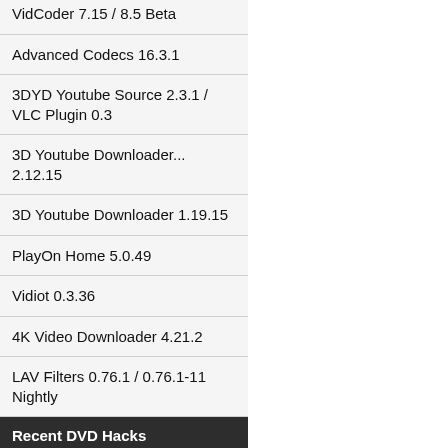VidCoder 7.15 / 8.5 Beta
Advanced Codecs 16.3.1
3DYD Youtube Source 2.3.1 / VLC Plugin 0.3
3D Youtube Downloader... 2.12.15
3D Youtube Downloader 1.19.15
PlayOn Home 5.0.49
Vidiot 0.3.36
4K Video Downloader 4.21.2
LAV Filters 0.76.1 / 0.76.1-11 Nightly
Recent DVD Hacks
LG BP350
LG BP250
LG HX806PG
Samsung BD-J5500
Panasonic DMP-BDT380
OK. OPD 720-1